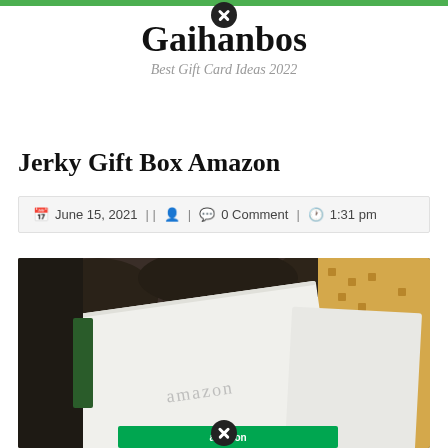Gaihanbos — Best Gift Card Ideas 2022
Jerky Gift Box Amazon
June 15, 2021 || 0 Comment | 1:31 pm
[Figure (photo): Photo of an Amazon gift box with white envelope card showing Amazon branding, surrounded by items on a table with a yellow patterned fabric visible on the right.]